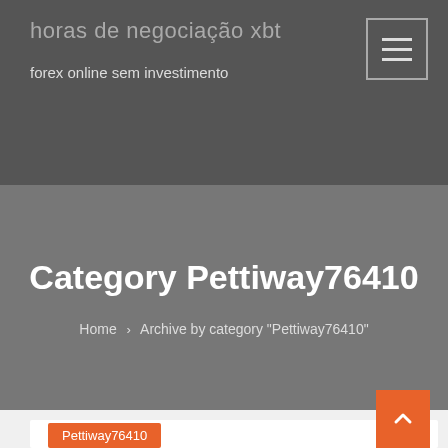horas de negociação xbt
forex online sem investimento
Category Pettiway76410
Home › Archive by category "Pettiway76410"
Pettiway76410